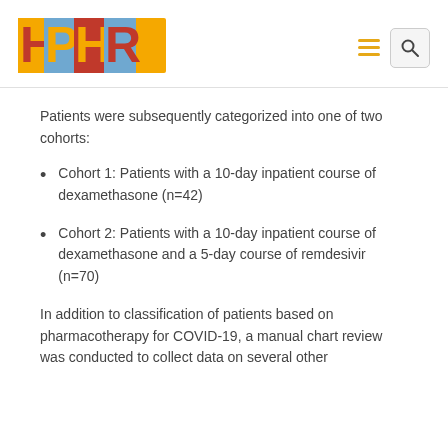[Figure (logo): HPHR logo with colorful block letters on yellow, red, and blue background]
Patients were subsequently categorized into one of two cohorts:
Cohort 1: Patients with a 10-day inpatient course of dexamethasone (n=42)
Cohort 2: Patients with a 10-day inpatient course of dexamethasone and a 5-day course of remdesivir (n=70)
In addition to classification of patients based on pharmacotherapy for COVID-19, a manual chart review was conducted to collect data on several other